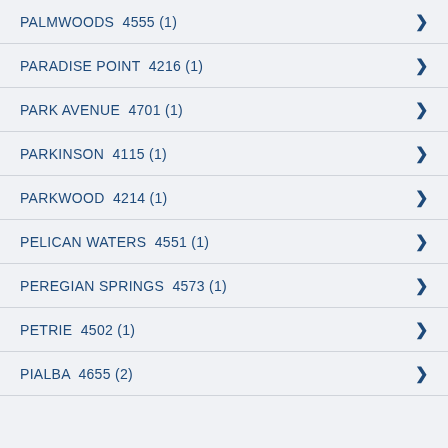PALMWOODS  4555 (1)
PARADISE POINT  4216 (1)
PARK AVENUE  4701 (1)
PARKINSON  4115 (1)
PARKWOOD  4214 (1)
PELICAN WATERS  4551 (1)
PEREGIAN SPRINGS  4573 (1)
PETRIE  4502 (1)
PIALBA  4655 (2)